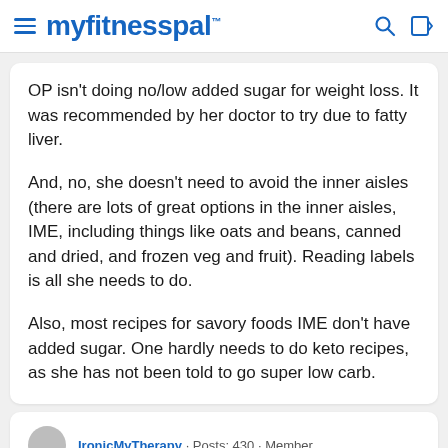myfitnesspal
OP isn't doing no/low added sugar for weight loss. It was recommended by her doctor to try due to fatty liver.
And, no, she doesn't need to avoid the inner aisles (there are lots of great options in the inner aisles, IME, including things like oats and beans, canned and dried, and frozen veg and fruit). Reading labels is all she needs to do.
Also, most recipes for savory foods IME don't have added sugar. One hardly needs to do keto recipes, as she has not been told to go super low carb.
IronicMyTherapy · Posts: 430 · Member